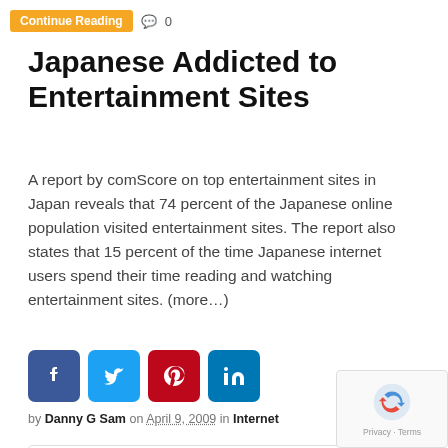Continue Reading 💬 0
Japanese Addicted to Entertainment Sites
A report by comScore on top entertainment sites in Japan reveals that 74 percent of the Japanese online population visited entertainment sites. The report also states that 15 percent of the time Japanese internet users spend their time reading and watching entertainment sites. (more…)
[Figure (infographic): Social sharing icons: Facebook (blue), Twitter (light blue), Pinterest (red), LinkedIn (teal)]
by Danny G Sam on April 9, 2009 in Internet
Related Links